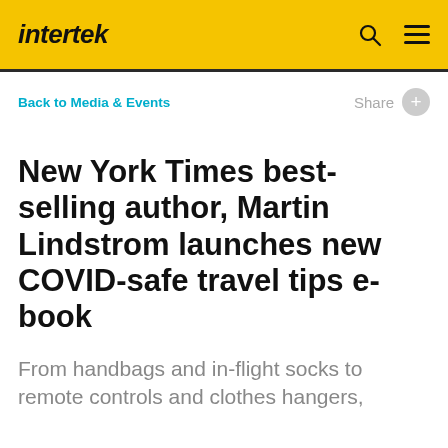intertek
Back to Media & Events
Share
New York Times best-selling author, Martin Lindstrom launches new COVID-safe travel tips e-book
From handbags and in-flight socks to remote controls and clothes hangers,